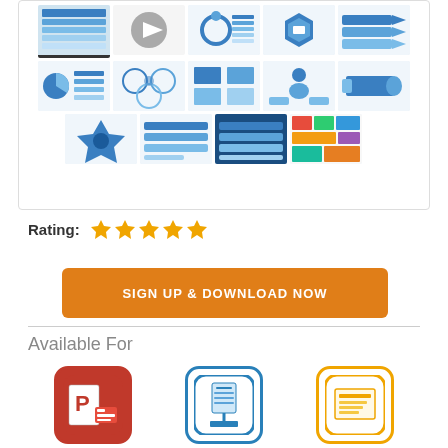[Figure (screenshot): Grid of thumbnail images showing presentation slide previews in blue/white color scheme, including diagrams, charts, flowcharts, and infographics. Two rows of 5 thumbnails each, plus a third row of 4 thumbnails. One thumbnail shows a play button icon.]
Rating:
[Figure (infographic): Five orange star rating icons indicating a 5-star rating]
SIGN UP & DOWNLOAD NOW
Available For
[Figure (logo): PowerPoint app icon - red rounded square with white P and presentation slide graphic]
[Figure (logo): Keynote app icon - blue outlined rounded square with podium/lectern icon]
[Figure (logo): Google Slides app icon - yellow/gold outlined rounded square with slide document icon]